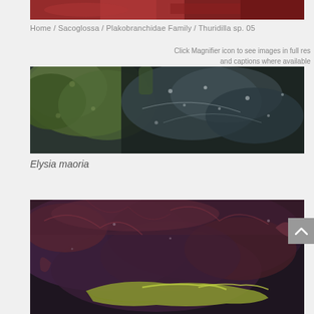[Figure (photo): Partial view of a reddish-brown sea slug or marine organism at the top of the page, cropped]
Home / Sacoglossa / Plakobranchidae Family / Thuridilla sp. 05
Click Magnifier icon to see images in full res and captions where available
[Figure (photo): Close-up macro photograph of Elysia maoria sea slug showing green and dark blue-grey textured body]
Elysia maoria
[Figure (photo): Close-up macro photograph of a sea slug camouflaged among dark purple-red algae with yellow-green parapodia visible at the bottom]